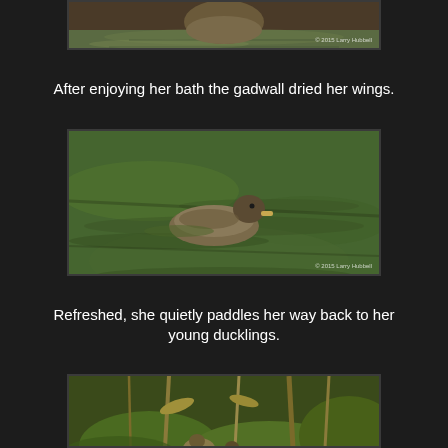[Figure (photo): Partial top view of a gadwall duck in water, cropped at top of frame]
After enjoying her bath the gadwall dried her wings.
[Figure (photo): A gadwall duck swimming across green algae-covered water]
Refreshed, she quietly paddles her way back to her young ducklings.
[Figure (photo): Partial bottom view of ducklings among reeds and green foliage, cropped at bottom of frame]